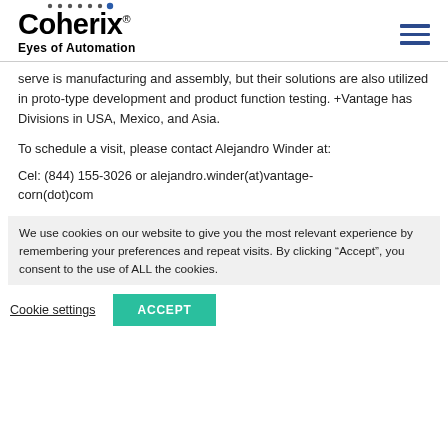[Figure (logo): Coherix logo with dots above text and tagline 'Eyes of Automation']
serve is manufacturing and assembly, but their solutions are also utilized in proto-type development and product function testing. +Vantage has Divisions in USA, Mexico, and Asia.
To schedule a visit, please contact Alejandro Winder at:
Cel: (844) 155-3026 or alejandro.winder(at)vantage-corn(dot)com
We use cookies on our website to give you the most relevant experience by remembering your preferences and repeat visits. By clicking “Accept”, you consent to the use of ALL the cookies.
Cookie settings
ACCEPT